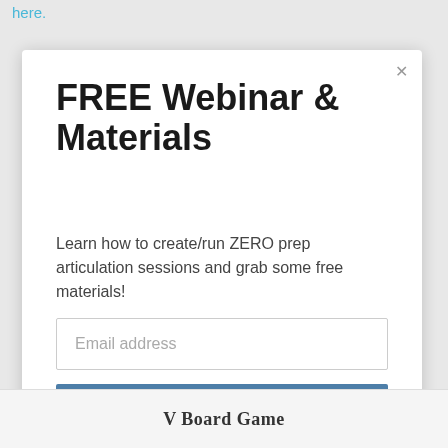here.
FREE Webinar & Materials
Learn how to create/run ZERO prep articulation sessions and grab some free materials!
Email address
Yes Please!
V Board Game